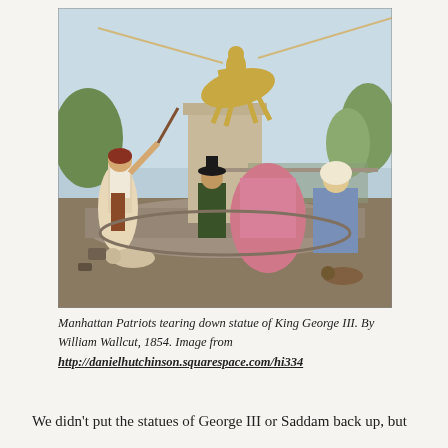[Figure (illustration): Historical painting depicting Manhattan Patriots tearing down the statue of King George III. Figures in 18th century attire are pulling ropes attached to an equestrian statue on a pedestal. Scene shows a crowd, women in colonial dress, men with muskets and poles. Painted by William Wallcut, 1854.]
Manhattan Patriots tearing down statue of King George III. By William Wallcut, 1854. Image from http://danielhutchinson.squarespace.com/hi334
We didn't put the statues of George III or Saddam back up, but